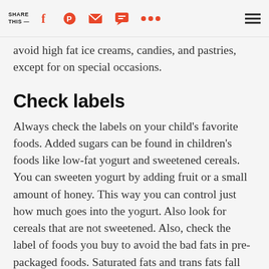SHARE THIS —
avoid high fat ice creams, candies, and pastries, except for on special occasions.
Check labels
Always check the labels on your child's favorite foods. Added sugars can be found in children's foods like low-fat yogurt and sweetened cereals. You can sweeten yogurt by adding fruit or a small amount of honey. This way you can control just how much goes into the yogurt. Also look for cereals that are not sweetened. Also, check the label of foods you buy to avoid the bad fats in pre-packaged foods. Saturated fats and trans fats fall into the unhealthy fat category. Polyunsaturated and monounsaturated fats (liquid fats) are better